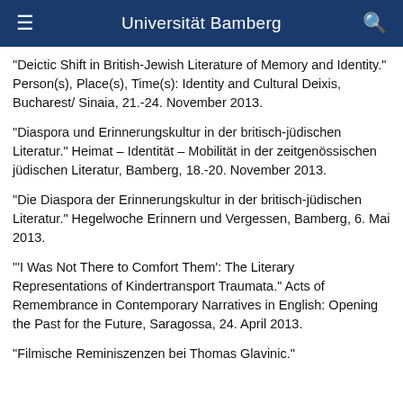Universität Bamberg
"Deictic Shift in British-Jewish Literature of Memory and Identity." Person(s), Place(s), Time(s): Identity and Cultural Deixis, Bucharest/ Sinaia, 21.-24. November 2013.
"Diaspora und Erinnerungskultur in der britisch-jüdischen Literatur." Heimat – Identität – Mobilität in der zeitgenössischen jüdischen Literatur, Bamberg, 18.-20. November 2013.
"Die Diaspora der Erinnerungskultur in der britisch-jüdischen Literatur." Hegelwoche Erinnern und Vergessen, Bamberg, 6. Mai 2013.
"'I Was Not There to Comfort Them': The Literary Representations of Kindertransport Traumata." Acts of Remembrance in Contemporary Narratives in English: Opening the Past for the Future, Saragossa, 24. April 2013.
"Filmische Reminiszenzen bei Thomas Glavinic."